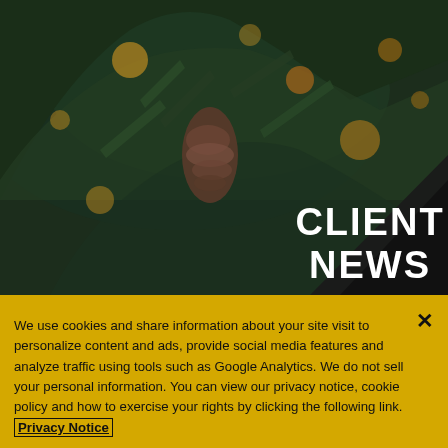[Figure (photo): Close-up photo of pine tree branches with bokeh orange lights in the background, dark green forest scene. Overlaid dark diagonal shape on right side with white bold text CLIENT NEWS.]
We use cookies and share information about your site visit to personalize content and ads, provide social media features and analyze traffic using tools such as Google Analytics. We do not sell your personal information. You can view our privacy notice, cookie policy and how to exercise your rights by clicking the following link. Privacy Notice
Cookie Settings
Reject All
Accept Cookies